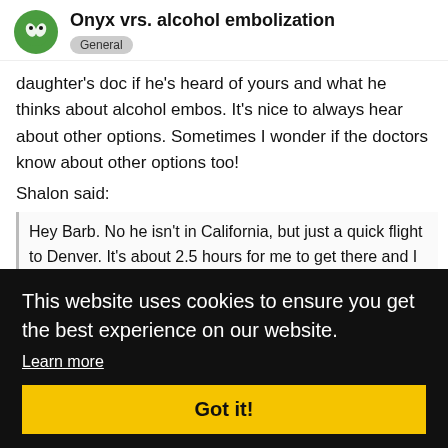Onyx vrs. alcohol embolization — General
daughter's doc if he's heard of yours and what he thinks about alcohol embos. It's nice to always hear about other options. Sometimes I wonder if the doctors know about other options too!
Shalon said:
Hey Barb. No he isn't in California, but just a quick flight to Denver. It's about 2.5 hours for me to get there and I [continued…] y ship. ame ALL easily
This website uses cookies to ensure you get the best experience on our website.
Learn more
Got it!
updating to do for it, but I think the imp